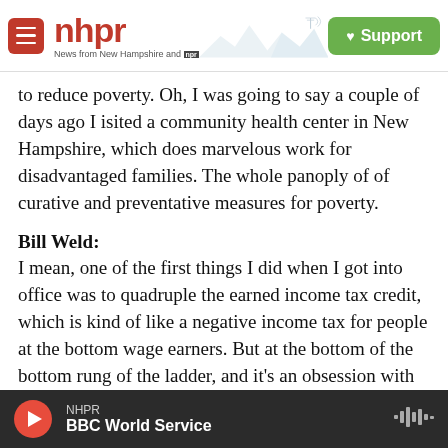NHPR — News from New Hampshire and NPR | Support
to reduce poverty. Oh, I was going to say a couple of days ago I isited a community health center in New Hampshire, which does marvelous work for disadvantaged families. The whole panoply of of curative and preventative measures for poverty.
Bill Weld:
I mean, one of the first things I did when I got into office was to quadruple the earned income tax credit, which is kind of like a negative income tax for people at the bottom wage earners. But at the bottom of the bottom rung of the ladder, and it's an obsession with me to make sure that the door to the middle class is not barred, but is the face of
NHPR | BBC World Service